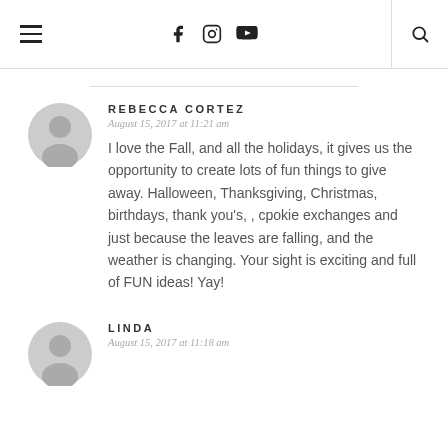Navigation header with hamburger menu, social icons (Facebook, Instagram, YouTube), and search
REBECCA CORTEZ
August 15, 2017 at 11:21 am
I love the Fall, and all the holidays, it gives us the opportunity to create lots of fun things to give away. Halloween, Thanksgiving, Christmas, birthdays, thank you's, , cpokie exchanges and just because the leaves are falling, and the weather is changing. Your sight is exciting and full of FUN ideas! Yay!
LINDA
August 15, 2017 at 11:18 am